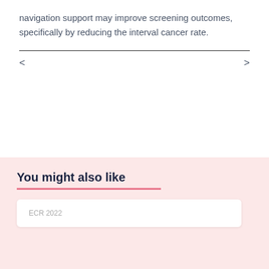navigation support may improve screening outcomes, specifically by reducing the interval cancer rate.
< >
You might also like
ECR 2022